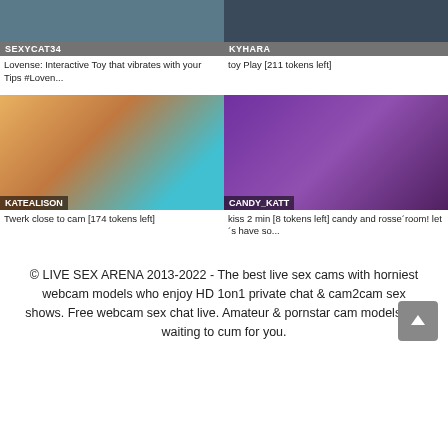[Figure (screenshot): Two webcam thumbnails (top row): SEXYCAT34 and KYHARA with partial descriptions below]
Lovense: Interactive Toy that vibrates with your Tips #Loven...
toy Play [211 tokens left]
[Figure (screenshot): Two webcam thumbnails (middle row): KATEALISON and CANDY_KATT]
Twerk close to cam [174 tokens left]
kiss 2 min [8 tokens left] candy and rosse´room! let´s have so...
© LIVE SEX ARENA 2013-2022 - The best live sex cams with horniest webcam models who enjoy HD 1on1 private chat & cam2cam sex shows. Free webcam sex chat live. Amateur & pornstar cam models are waiting to cum for you.